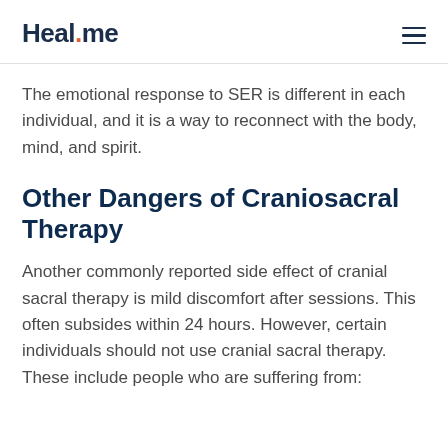Heal.me
The emotional response to SER is different in each individual, and it is a way to reconnect with the body, mind, and spirit.
Other Dangers of Craniosacral Therapy
Another commonly reported side effect of cranial sacral therapy is mild discomfort after sessions. This often subsides within 24 hours. However, certain individuals should not use cranial sacral therapy. These include people who are suffering from: